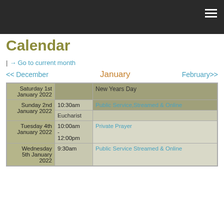Calendar
| → Go to current month
<< December   January   February>>
| Date | Time | Event |
| --- | --- | --- |
| Saturday 1st January 2022 |  | New Years Day |
| Sunday 2nd January 2022 | 10:30am | Public Service,Streamed & Online |
|  |  | Eucharist |
| Tuesday 4th January 2022 | 10:00am - 12:00pm | Private Prayer |
| Wednesday 5th January 2022 | 9:30am | Public Service Streamed & Online |